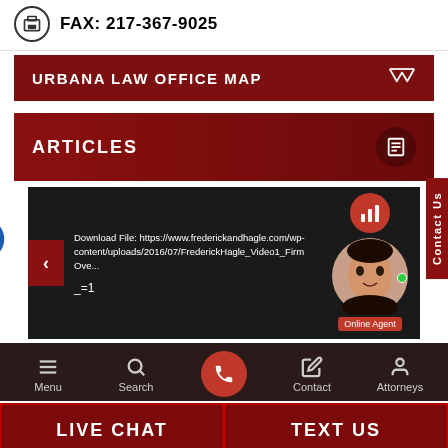FAX: 217-367-9025
URBANA LAW OFFICE MAP
ARTICLES
[Figure (screenshot): Dark video player area showing a download file URL: https://www.frederickandhagle.com/wp-content/uploads/2016/07/FrederickHagle_Video1_FirmOve... with underscore text and navigation controls]
Menu | Search | Contact | Attorneys | LIVE CHAT | TEXT US